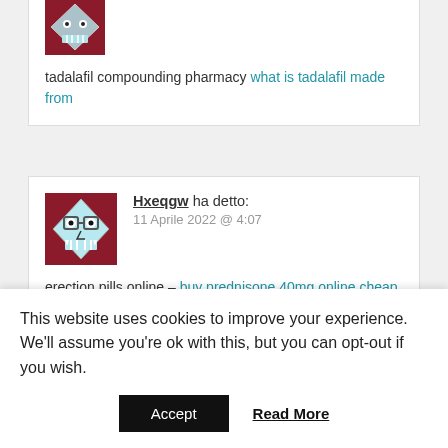[Figure (illustration): Partial user avatar icon on dark red background at top of first comment card]
tadalafil compounding pharmacy what is tadalafil made from
[Figure (illustration): User avatar: cartoon monster face (diamond shape, light blue/white, dark eyes, toothy grin) on dark red background]
Hxeqgw ha detto:
11 Aprile 2022 @ 4:07
erection pills online – buy prednisone 40mg online cheap buy prednisone 5mg online
[Figure (illustration): Partial bottom comment card with olive/dark green bar visible]
This website uses cookies to improve your experience. We'll assume you're ok with this, but you can opt-out if you wish.
Accept   Read More